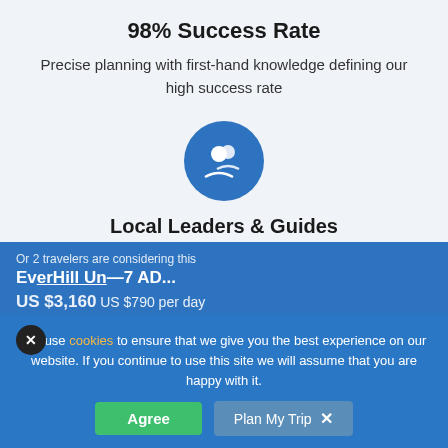98% Success Rate
Precise planning with first-hand knowledge defining our high success rate
[Figure (illustration): Blue circle icon with two person/group silhouette figures in white]
Local Leaders & Guides
Exclusively trained, trusted and tested local leaders and guides at your service
We use cookies to ensure that we give you the best experience on our website. If you continue to use this site we will assume that you are happy with it.
Agree
Plan My Trip